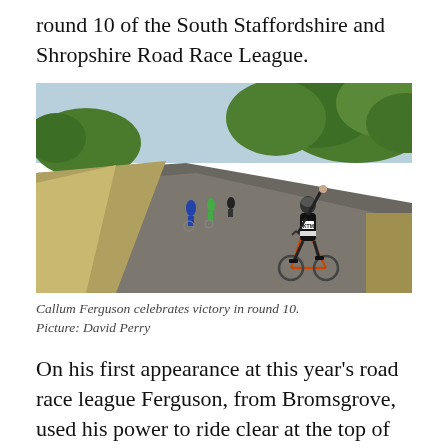round 10 of the South Staffordshire and Shropshire Road Race League.
[Figure (photo): Callum Ferguson celebrating victory on a road bike, arm raised, wearing KTM jersey and helmet, with other cyclists in the background on a rural road lined with hedgerows and dry grass.]
Callum Ferguson celebrates victory in round 10. Picture: David Perry
On his first appearance at this year’s road race league Ferguson, from Bromsgrove, used his power to ride clear at the top of the second